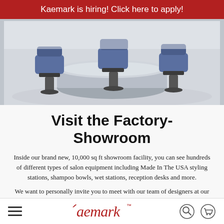Kaemark is hiring! Click here to apply!
[Figure (photo): Interior of a salon showroom with blue styling chairs arranged around a circular chrome reception/styling island on a white tile floor.]
Visit the Factory-Showroom
Inside our brand new, 10,000 sq ft showroom facility, you can see hundreds of different types of salon equipment including Made In The USA styling stations, shampoo bowls, wet stations, reception desks and more.
We want to personally invite you to meet with our team of designers at our showroom where you can
Kaemark™